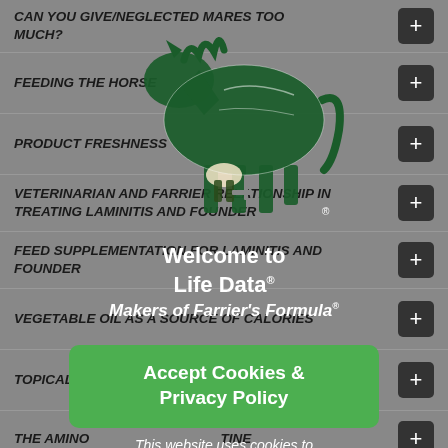CAN YOU GIVE/NEGLECTED MARES TOO MUCH?
FEEDING THE HORSE
PRODUCT FRESHNESS
VETERINARIAN AND FARRIER RELATIONSHIP IN TREATING LAMINITIS AND FOUNDER
FEED SUPPLEMENTATION FOR LAMINITIS AND FOUNDER
VEGETABLE OIL AS A SOURCE OF CALORIES
TOPICAL HOOF DRESSINGS
THE AMINO ACID METHIONINE
RECOGNIZING NUTRITION-RELATED HOOF PROBLEMS
[Figure (logo): Green illustrated horse logo with farrier, Life Data brand. Text: Welcome to Life Data® / Makers of Farrier's Formula®]
Accept Cookies & Privacy Policy
This website uses cookies to ensure you get the best experience.